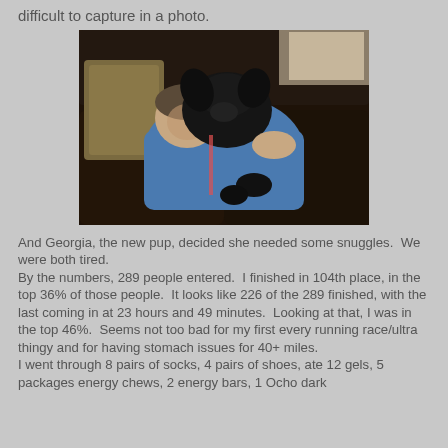difficult to capture in a photo.
[Figure (photo): Person lying on a dark leather couch cuddling a small black puppy, with a decorative pillow visible. The person is wearing a blue long-sleeve shirt.]
And Georgia, the new pup, decided she needed some snuggles.  We were both tired.
By the numbers, 289 people entered.  I finished in 104th place, in the top 36% of those people.  It looks like 226 of the 289 finished, with the last coming in at 23 hours and 49 minutes.  Looking at that, I was in the top 46%.  Seems not too bad for my first every running race/ultra thingy and for having stomach issues for 40+ miles.
I went through 8 pairs of socks, 4 pairs of shoes, ate 12 gels, 5 packages energy chews, 2 energy bars, 1 Ocho dark chocolate bar, not to mention 1 tiramisú and 1...